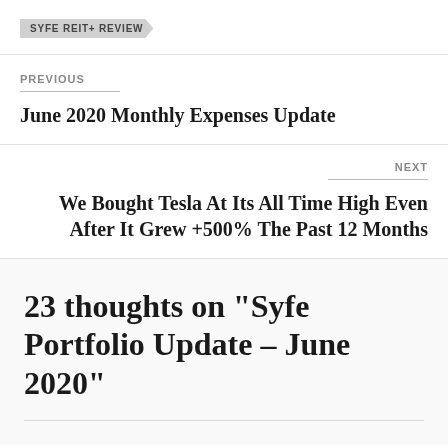SYFE REIT+ REVIEW
PREVIOUS
June 2020 Monthly Expenses Update
NEXT
We Bought Tesla At Its All Time High Even After It Grew +500% The Past 12 Months
23 thoughts on “Syfe Portfolio Update – June 2020”